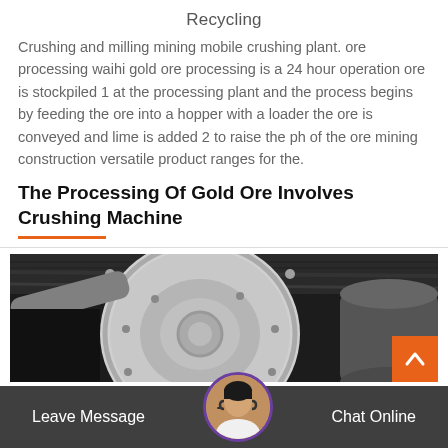Recycling
Crushing and milling mining mobile crushing plant. ore processing waihi gold ore processing is a 24 hour operation ore is stockpiled 1 at the processing plant and the process begins by feeding the ore into a hopper with a loader the ore is conveyed and lime is added 2 to raise the ph of the ore mining construction versatile product ranges for the.
The Processing Of Gold Ore Involves Crushing Machine
[Figure (photo): Industrial photo of a large ball mill or crushing machine inside a mining facility with dark ceiling and large cylindrical machinery]
Leave Message
Chat Online